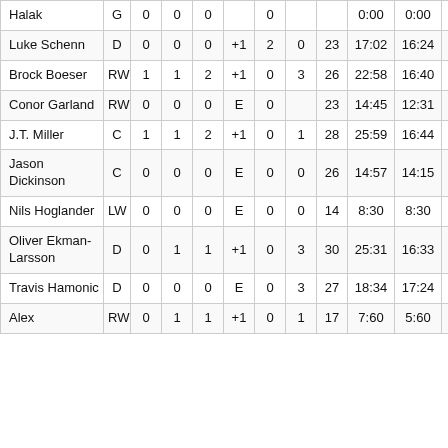| Player | Pos | G | A | P | +/- | PIM | HIT | SA | TOI | EV | PP | SH |
| --- | --- | --- | --- | --- | --- | --- | --- | --- | --- | --- | --- | --- |
| Halak | G | 0 | 0 | 0 |  | 0 |  |  | 0:00 | 0:00 | 0:00 |  |
| Luke Schenn | D | 0 | 0 | 0 | +1 | 2 | 0 | 23 | 17:02 | 16:24 | 0:05 |  |
| Brock Boeser | RW | 1 | 1 | 2 | +1 | 0 | 3 | 26 | 22:58 | 16:40 | 6:18 |  |
| Conor Garland | RW | 0 | 0 | 0 | E | 0 |  | 23 | 14:45 | 12:31 | 2:14 |  |
| J.T. Miller | C | 1 | 1 | 2 | +1 | 0 | 1 | 28 | 25:59 | 16:44 | 6:54 |  |
| Jason Dickinson | C | 0 | 0 | 0 | E | 0 | 0 | 26 | 14:57 | 14:15 | 0:00 |  |
| Nils Hoglander | LW | 0 | 0 | 0 | E | 0 | 0 | 14 | 8:30 | 8:30 | 0:00 |  |
| Oliver Ekman-Larsson | D | 0 | 1 | 1 | +1 | 0 | 3 | 30 | 25:31 | 16:33 | 6:09 |  |
| Travis Hamonic | D | 0 | 0 | 0 | E | 0 | 3 | 27 | 18:34 | 17:24 | 0:16 |  |
| Alex | RW | 0 | 1 | 1 | +1 | 0 | 1 | 17 | 7:60 | 5:60 | 2:00 |  |